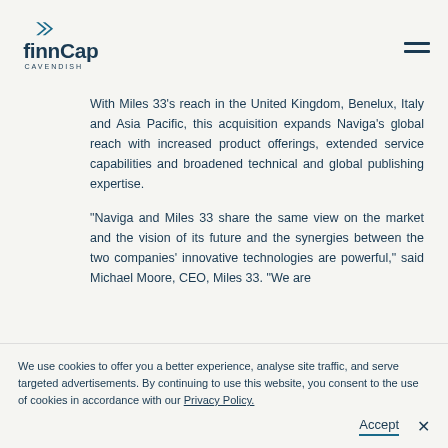[Figure (logo): finnCap Cavendish logo with double arrow chevron icon above the wordmark]
With Miles 33’s reach in the United Kingdom, Benelux, Italy and Asia Pacific, this acquisition expands Naviga’s global reach with increased product offerings, extended service capabilities and broadened technical and global publishing expertise.
“Naviga and Miles 33 share the same view on the market and the vision of its future and the synergies between the two companies’ innovative technologies are powerful,” said Michael Moore, CEO, Miles 33. “We are
We use cookies to offer you a better experience, analyse site traffic, and serve targeted advertisements. By continuing to use this website, you consent to the use of cookies in accordance with our Privacy Policy.